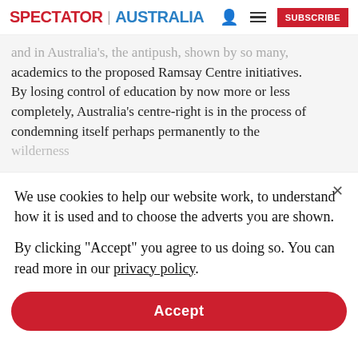SPECTATOR | AUSTRALIA
...and in Australia's, the antipush, shown by so many, academics to the proposed Ramsay Centre initiatives. By losing control of education by now more or less completely, Australia's centre-right is in the process of condemning itself perhaps permanently to the wilderness
We use cookies to help our website work, to understand how it is used and to choose the adverts you are shown.
By clicking "Accept" you agree to us doing so. You can read more in our privacy policy.
Accept